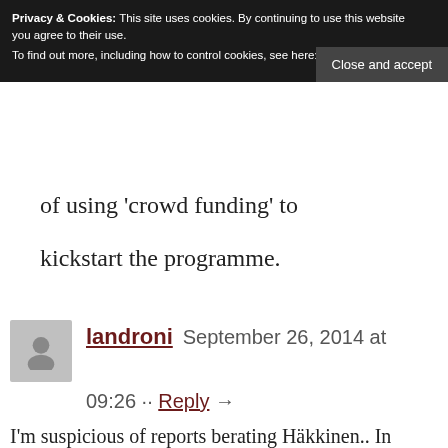Privacy & Cookies: This site uses cookies. By continuing to use this website you agree to their use. To find out more, including how to control cookies, see here: Cookie Policy
Close and accept
of using 'crowd funding' to kickstart the programme.
landroni  September 26, 2014 at 09:26 ·· Reply →
I'm suspicious of reports berating Häkkinen.. In BJF's ratings he stacks top 15 ever, nicely tucked in between Nigel Mansell and Niki